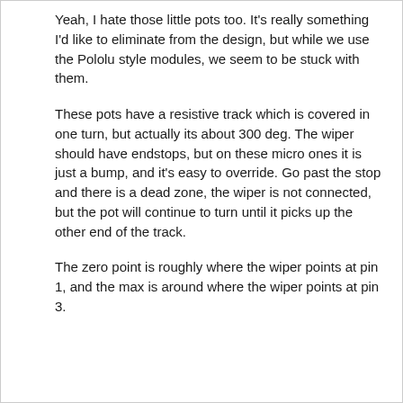Yeah, I hate those little pots too. It's really something I'd like to eliminate from the design, but while we use the Pololu style modules, we seem to be stuck with them.
These pots have a resistive track which is covered in one turn, but actually its about 300 deg. The wiper should have endstops, but on these micro ones it is just a bump, and it's easy to override. Go past the stop and there is a dead zone, the wiper is not connected, but the pot will continue to turn until it picks up the other end of the track.
The zero point is roughly where the wiper points at pin 1, and the max is around where the wiper points at pin 3.